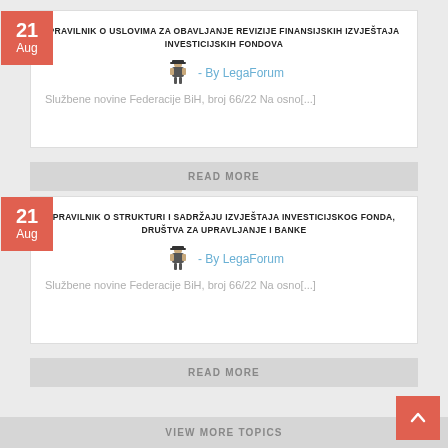PRAVILNIK O USLOVIMA ZA OBAVLJANJE REVIZIJE FINANSIJSKIH IZVJEŠTAJA INVESTICIJSKIH FONDOVA
- By LegaForum
Službene novine Federacije BiH, broj 66/22 Na osno[...]
READ MORE
PRAVILNIK O STRUKTURI I SADRŽAJU IZVJEŠTAJA INVESTICIJSKOG FONDA, DRUŠTVA ZA UPRAVLJANJE I BANKE
- By LegaForum
Službene novine Federacije BiH, broj 66/22 Na osno[...]
READ MORE
VIEW MORE TOPICS